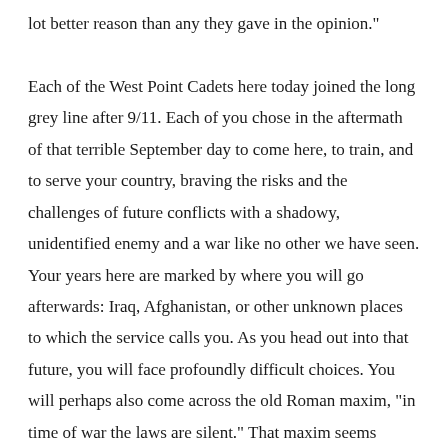lot better reason than any they gave in the opinion."

Each of the West Point Cadets here today joined the long grey line after 9/11. Each of you chose in the aftermath of that terrible September day to come here, to train, and to serve your country, braving the risks and the challenges of future conflicts with a shadowy, unidentified enemy and a war like no other we have seen. Your years here are marked by where you will go afterwards: Iraq, Afghanistan, or other unknown places to which the service calls you. As you head out into that future, you will face profoundly difficult choices. You will perhaps also come across the old Roman maxim, "in time of war the laws are silent." That maxim seems almost quaint today. The Romans had no Geneva Conventions, nor did they have a JAG Corps (or for that matter, a press corps). Today, law and war seem inseparable. But there is still some truth to that old saying, because to the extent that there is